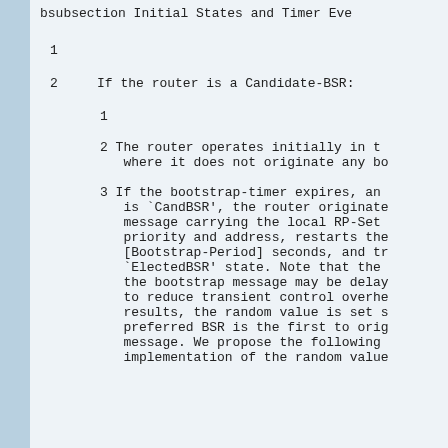bsubsection Initial States and Timer Eve
1
2    If the router is a Candidate-BSR:
1
2 The router operates initially in t where it does not originate any bo
3 If the bootstrap-timer expires, an is `CandBSR', the router originate message carrying the local RP-Set priority and address, restarts the [Bootstrap-Period] seconds, and tr `ElectedBSR' state. Note that the the bootstrap message may be delay to reduce transient control overhe results, the random value is set s preferred BSR is the first to orig message. We propose the following implementation of the random value